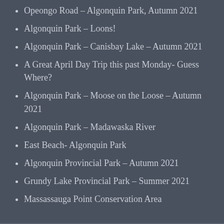Opeongo Road – Algonquin Park, Autumn 2021
Algonquin Park – Loons!
Algonquin Park – Canisbay Lake – Autumn 2021
A Great April Day Trip this past Monday- Guess Where?
Algonquin Park – Moose on the Loose – Autumn 2021
Algonquin Park – Madawaska River
East Beach- Algonquin Park
Algonquin Provincial Park – Autumn 2021
Grundy Lake Provincial Park – Summer 2021
Massassauga Point Conservation Area